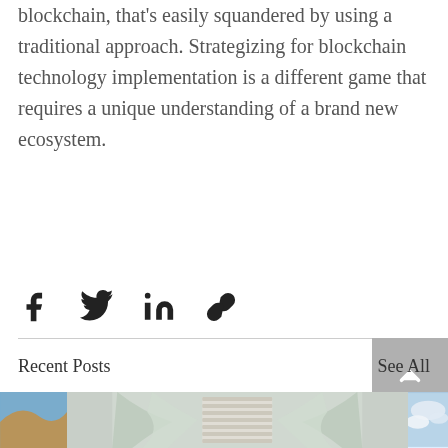blockchain, that's easily squandered by using a traditional approach. Strategizing for blockchain technology implementation is a different game that requires a unique understanding of a brand new ecosystem.
[Figure (other): Social share icons row: Facebook, Twitter, LinkedIn, and link/chain icon]
Recent Posts
See All
[Figure (photo): Three partially visible blog post thumbnail images: left shows a rocky hillside, center shows a wooden boardwalk path through snowy branches, right shows clouds.]